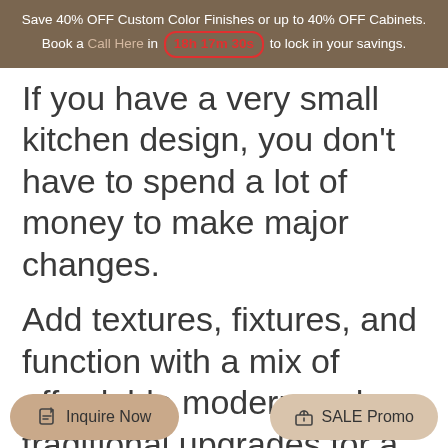Save 40% OFF Custom Color Finishes or up to 40% OFF Cabinets. Book a Call Here in 18h 17m 30s to lock in your savings.
If you have a very small kitchen design, you don't have to spend a lot of money to make major changes.
Add textures, fixtures, and function with a mix of affordable modern and traditional upgrades for a dazzling look.
Here are some of the best kitchen ideas that will really change